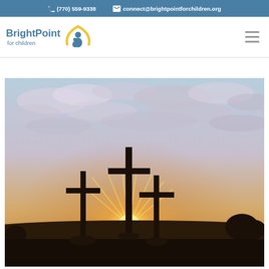(770) 559-9338   connect@brightpointforchildren.org
[Figure (logo): BrightPoint for Children logo with stylized person icon and yellow arc]
[Figure (photo): Three silhouetted crosses against a sunset sky with dramatic sunburst and clouds]